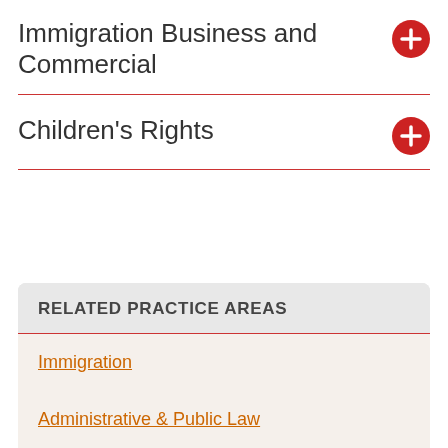Immigration Business and Commercial
Children's Rights
RELATED PRACTICE AREAS
Immigration
Administrative & Public Law